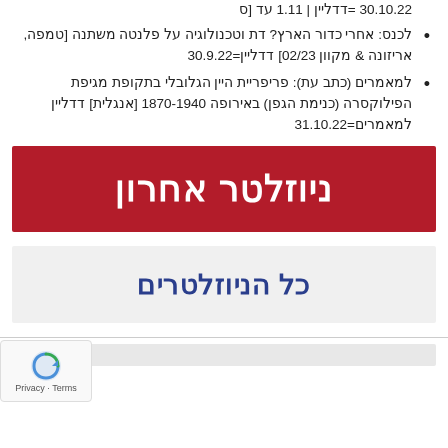לכנס: אחרי כדור הארץ? דת וטכנולוגיה על פלנטה משתנה [טמפה, אריזונה & מקוון 02/23] דדליין=30.9.22
למאמרים (כתב עת): פריפריית היין הגלובלי בתקופת מגיפת הפילוקסרה (כנימת הגפן) באירופה 1870-1940 [אנגלית] דדליין למאמרים=31.10.22
ניוזלטר אחרון
כל הניוזלטרים